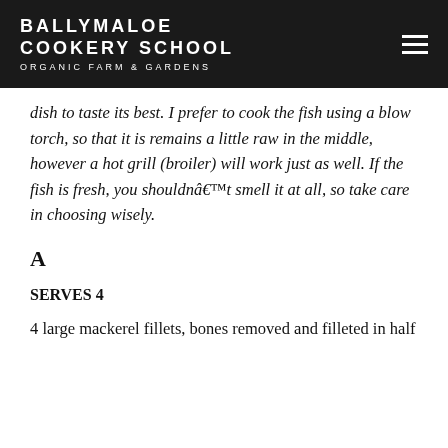BALLYMALOE COOKERY SCHOOL ORGANIC FARM & GARDENS
dish to taste its best. I prefer to cook the fish using a blow torch, so that it is remains a little raw in the middle, however a hot grill (broiler) will work just as well. If the fish is fresh, you shouldnâ€™t smell it at all, so take care in choosing wisely.
A
SERVES 4
4 large mackerel fillets, bones removed and filleted in half